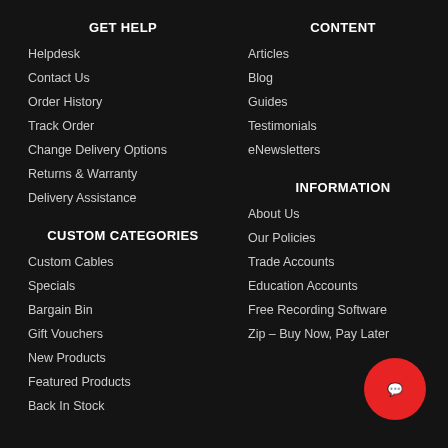GET HELP
Helpdesk
Contact Us
Order History
Track Order
Change Delivery Options
Returns & Warranty
Delivery Assistance
CONTENT
Articles
Blog
Guides
Testimonials
eNewsletters
CUSTOM CATEGORIES
Custom Cables
Specials
Bargain Bin
Gift Vouchers
New Products
Featured Products
Back In Stock
INFORMATION
About Us
Our Policies
Trade Accounts
Education Accounts
Free Recording Software
Zip – Buy Now, Pay Later